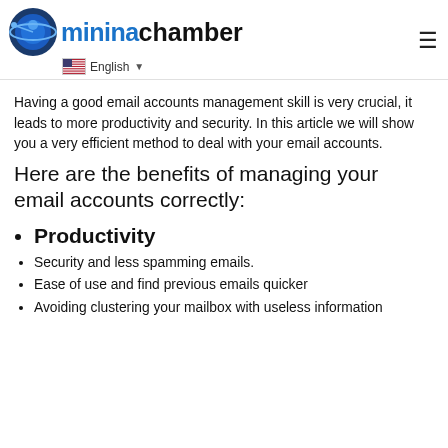mininachamber — English
Having a good email accounts management skill is very crucial, it leads to more productivity and security. In this article we will show you a very efficient method to deal with your email accounts.
Here are the benefits of managing your email accounts correctly:
Productivity
Security and less spamming emails.
Ease of use and find previous emails quicker
Avoiding clustering your mailbox with useless information